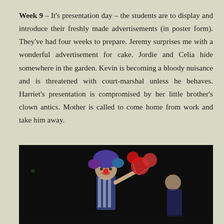Week 9 – It's presentation day – the students are to display and introduce their freshly made advertisements (in poster form). They've had four weeks to prepare. Jeremy surprises me with a wonderful advertisement for cake. Jordie and Celia hide somewhere in the garden. Kevin is becoming a bloody nuisance and is threatened with court-marshal unless he behaves. Harriet's presentation is compromised by her little brother's clown antics. Mother is called to come home from work and take him away.
[Figure (photo): Dark photograph showing a person dressed as a clown with a colorful wig, holding red balloons, on a dark stage with another person visible.]